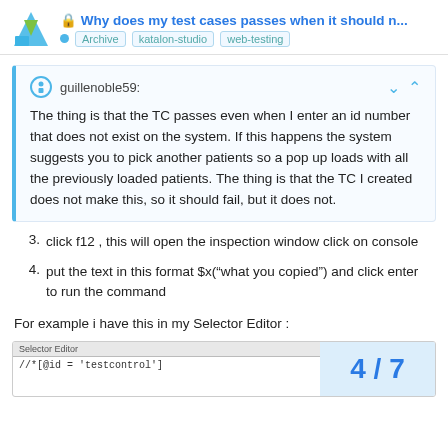Why does my test cases passes when it should n... Archive katalon-studio web-testing
guillenoble59: The thing is that the TC passes even when I enter an id number that does not exist on the system. If this happens the system suggests you to pick another patients so a pop up loads with all the previously loaded patients. The thing is that the TC I created does not make this, so it should fail, but it does not.
3. click f12 , this will open the inspection window click on console
4. put the text in this format $x(“what you copied”) and click enter to run the command
For example i have this in my Selector Editor :
[Figure (screenshot): Screenshot of Selector Editor showing //*[@id='testcontrol'] with a blue panel on the right showing page number 4/7]